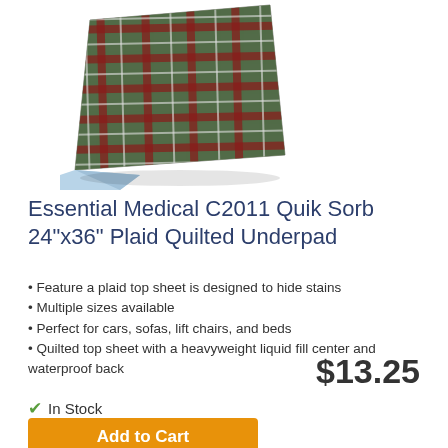[Figure (photo): A plaid quilted underpad folded at corner showing blue waterproof back, green/red/white plaid top]
Essential Medical C2011 Quik Sorb 24"x36" Plaid Quilted Underpad
Feature a plaid top sheet is designed to hide stains
Multiple sizes available
Perfect for cars, sofas, lift chairs, and beds
Quilted top sheet with a heavyweight liquid fill center and waterproof back
$13.25
✔ In Stock
Add to Cart